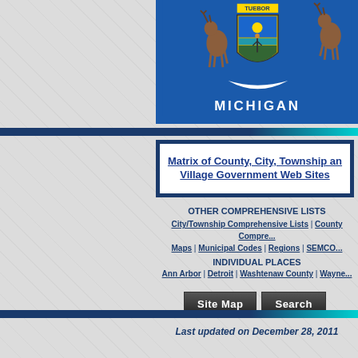[Figure (illustration): Michigan state flag banner showing coat of arms with two elk/deer supporters, shield with man on peninsula, blue background, MICHIGAN text in white at bottom]
Matrix of County, City, Township and Village Government Web Sites
OTHER COMPREHENSIVE LISTS
City/Township Comprehensive Lists | County Comprehensive Lists | Maps | Municipal Codes | Regions | SEMCOG
INDIVIDUAL PLACES
Ann Arbor | Detroit | Washtenaw County | Wayne County
Site Map
Search
Last updated on December 28, 2011